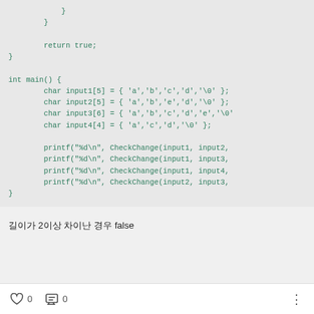Code snippet showing C function closing braces, return true, int main() with char arrays (input1-4) and printf/CheckChange calls
길이가 2이상 차이난 경우 false
♡ 0   💬 0   ⋮